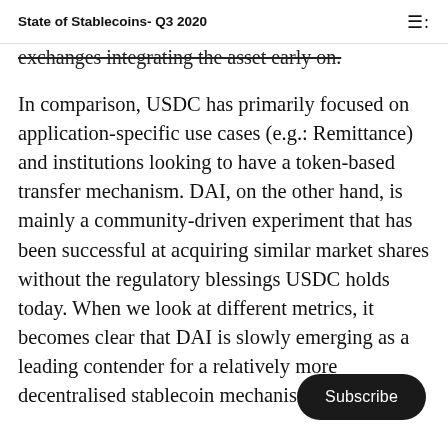State of Stablecoins- Q3 2020
exchanges integrating the asset early on.
In comparison, USDC has primarily focused on application-specific use cases (e.g.: Remittance) and institutions looking to have a token-based transfer mechanism. DAI, on the other hand, is mainly a community-driven experiment that has been successful at acquiring similar market shares without the regulatory blessings USDC holds today. When we look at different metrics, it becomes clear that DAI is slowly emerging as a leading contender for a relatively more decentralised stablecoin mechanism